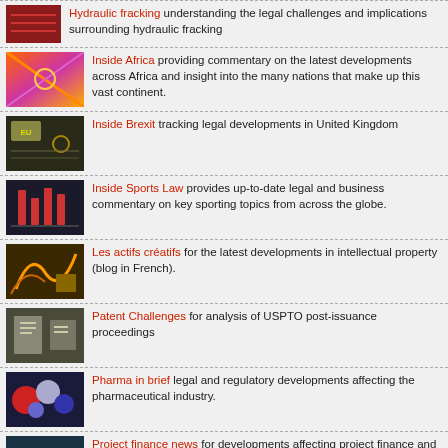Hydraulic fracking understanding the legal challenges and implications surrounding hydraulic fracking
Inside Africa providing commentary on the latest developments across Africa and insight into the many nations that make up this vast continent.
Inside Brexit tracking legal developments in United Kingdom
Inside Sports Law provides up-to-date legal and business commentary on key sporting topics from across the globe.
Les actifs créatifs for the latest developments in intellectual property (blog in French).
Patent Challenges for analysis of USPTO post-issuance proceedings
Pharma in brief legal and regulatory developments affecting the pharmaceutical industry.
Project finance news for developments affecting project finance and the energy sector.
Securities litigation and enforcement for domestic developments in securities litigation in both Canada and the United States.
Social media law bulletin for the legal implications of social media.
Special situations law for developments in special situations law in